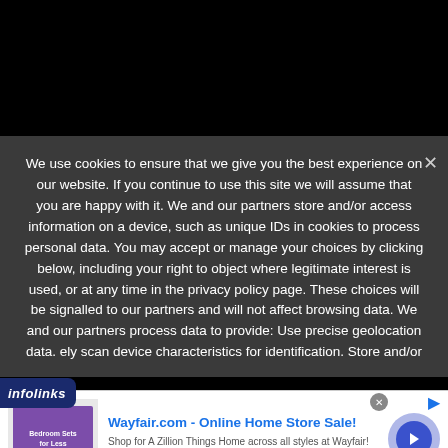We use cookies to ensure that we give you the best experience on our website. If you continue to use this site we will assume that you are happy with it. We and our partners store and/or access information on a device, such as unique IDs in cookies to process personal data. You may accept or manage your choices by clicking below, including your right to object where legitimate interest is used, or at any time in the privacy policy page. These choices will be signalled to our partners and will not affect browsing data. We and our partners process data to provide: Use precise geolocation data. ely scan device characteristics for identification. Store and/or
[Figure (screenshot): Infolinks logo banner and Wayfair advertisement]